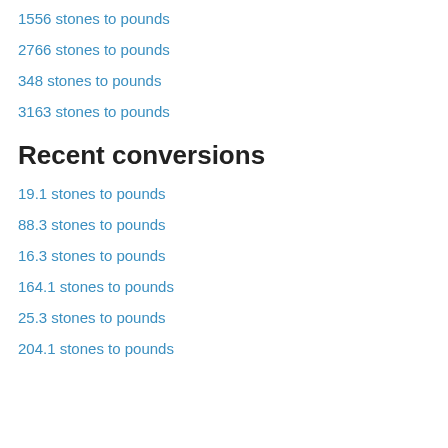1556 stones to pounds
2766 stones to pounds
348 stones to pounds
3163 stones to pounds
Recent conversions
19.1 stones to pounds
88.3 stones to pounds
16.3 stones to pounds
164.1 stones to pounds
25.3 stones to pounds
204.1 stones to pounds